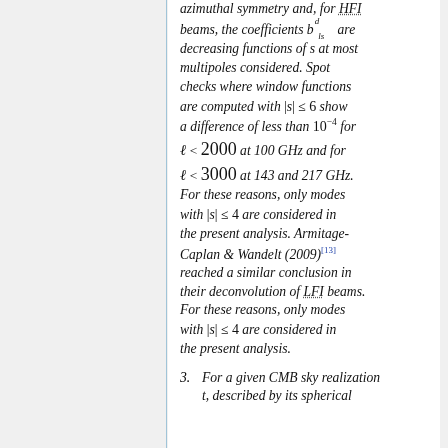azimuthal symmetry and, for HFI beams, the coefficients b^d_{ls} are decreasing functions of s at most multipoles considered. Spot checks where window functions are computed with |s| ≤ 6 show a difference of less than 10^{-4} for ℓ < 2000 at 100 GHz and for ℓ < 3000 at 143 and 217 GHz. For these reasons, only modes with |s| ≤ 4 are considered in the present analysis. Armitage-Caplan & Wandelt (2009)[13] reached a similar conclusion in their deconvolution of LFI beams. For these reasons, only modes with |s| ≤ 4 are considered in the present analysis.
3. For a given CMB sky realization t, described by its spherical